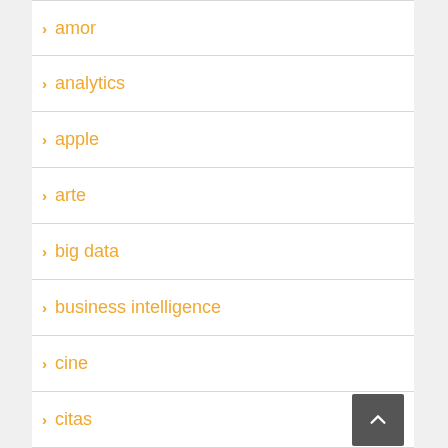amor
analytics
apple
arte
big data
business intelligence
cine
citas
cloud